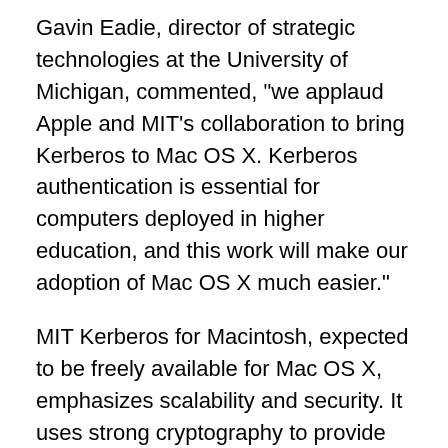Gavin Eadie, director of strategic technologies at the University of Michigan, commented, "we applaud Apple and MIT's collaboration to bring Kerberos to Mac OS X. Kerberos authentication is essential for computers deployed in higher education, and this work will make our adoption of Mac OS X much easier."
MIT Kerberos for Macintosh, expected to be freely available for Mac OS X, emphasizes scalability and security. It uses strong cryptography to provide encryption and integrity-checking of network data, and secure authentication between Internet clients and servers. It is compatible with Kerberos implementations from other vendors.
MIT Kerberos for Macintosh is developed for...